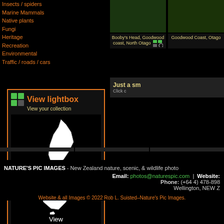Insects / spiders
Marine Mammals
Native plants
Fungi
Heritage
Recreation
Environmental
Traffic / roads / cars
[Figure (screenshot): View lightbox - View your collection button with grid icon]
[Figure (map): Map of New Zealand with View Regions & Districts label]
[Figure (screenshot): Two photo thumbnails: Booby's Head Goodwood coast North Otago, and Goodwood Coast Otago]
Just a sm... Click c...
NATURE'S PIC IMAGES - New Zealand nature, scenic, & wildlife photo
Email: photos@naturespic.com  |  Website:
Phone: (+64 4) 478-898
Wellington, NEW Z
Website & all Images © 2022 Rob L. Suisted–Nature's Pic Images.